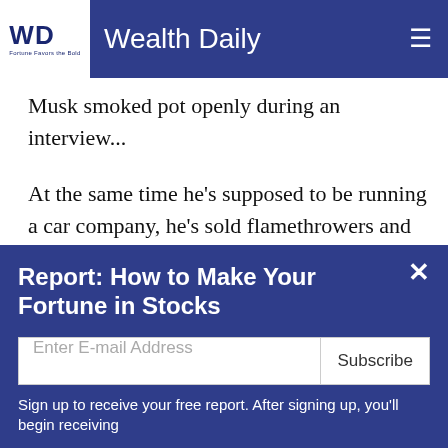Wealth Daily
Musk smoked pot openly during an interview...
At the same time he's supposed to be running a car company, he's sold flamethrowers and mused about starting a cookie company...
He brought ridiculous subs to Thailand to rescue those soccer kids stuck in a cave, was told his idea was dumb, and accused one of the divers of being a pedophile... He's being sued for that, too.
Report: How to Make Your Fortune in Stocks
Sign up to receive your free report. After signing up, you'll begin receiving